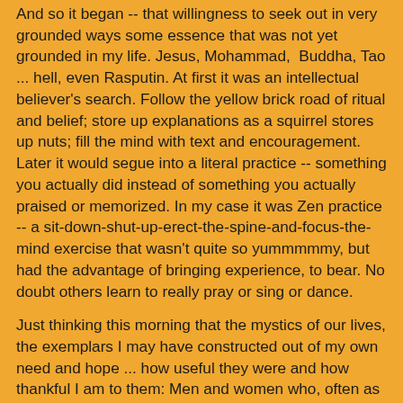And so it began -- that willingness to seek out in very grounded ways some essence that was not yet grounded in my life. Jesus, Mohammad,  Buddha, Tao ... hell, even Rasputin. At first it was an intellectual believer's search. Follow the yellow brick road of ritual and belief; store up explanations as a squirrel stores up nuts; fill the mind with text and encouragement. Later it would segue into a literal practice -- something you actually did instead of something you actually praised or memorized. In my case it was Zen practice -- a sit-down-shut-up-erect-the-spine-and-focus-the-mind exercise that wasn't quite so yummmmmy, but had the advantage of bringing experience, to bear. No doubt others learn to really pray or sing or dance.
Just thinking this morning that the mystics of our lives, the exemplars I may have constructed out of my own need and hope ... how useful they were and how thankful I am to them: Men and women who, often as not, had no sense of anything 'mystical' and yet encouraged others who longed for mysticism, longed for something 'beyond,' longed for something 'else.'
I feel pretty fortunate not to have gotten mired down -- ritual